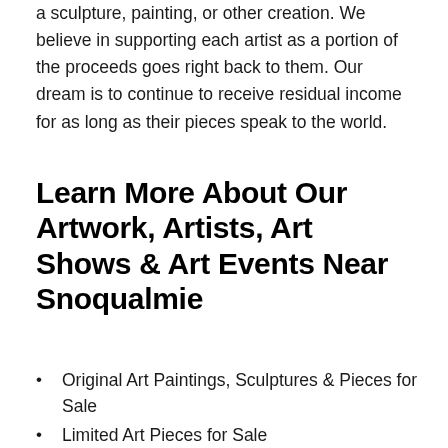a sculpture, painting, or other creation. We believe in supporting each artist as a portion of the proceeds goes right back to them. Our dream is to continue to receive residual income for as long as their pieces speak to the world.
Learn More About Our Artwork, Artists, Art Shows & Art Events Near Snoqualmie
Original Art Paintings, Sculptures & Pieces for Sale
Limited Art Pieces for Sale
The DogTown Art Collection for Sale
Art Shows
Urban Art Gallery
Urban Art for Sale